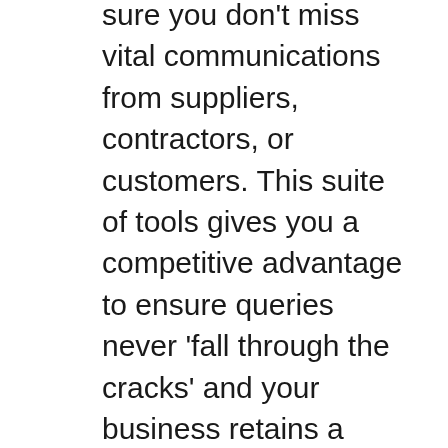sure you don't miss vital communications from suppliers, contractors, or customers. This suite of tools gives you a competitive advantage to ensure queries never 'fall through the cracks' and your business retains a highly professional reputation.
Keeping in complete control of your business doesn't have to mean sacrificing extra hours, laborious micromanagement, or building complex and costly systems. Office 365 allows you to keep control of your business easily and without hassle.
N-Line Technologies are experts in the implementation of Office 365, which ensures